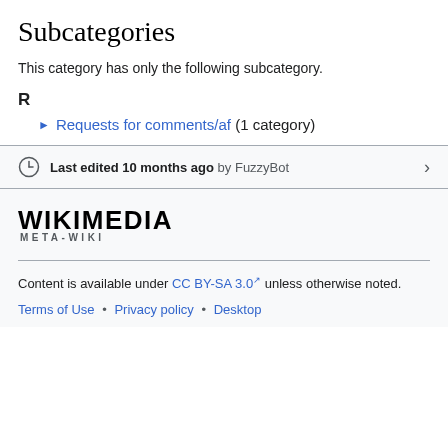Subcategories
This category has only the following subcategory.
R
▶ Requests for comments/af (1 category)
Last edited 10 months ago by FuzzyBot
[Figure (logo): Wikimedia Meta-Wiki logo with text WIKIMEDIA META-WIKI]
Content is available under CC BY-SA 3.0 unless otherwise noted. Terms of Use • Privacy policy • Desktop